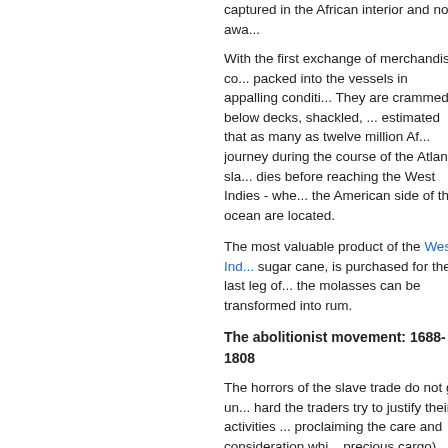captured in the African interior and now awa...
With the first exchange of merchandise co... packed into the vessels in appalling conditi... They are crammed below decks, shackled, ... estimated that as many as twelve million Af... journey during the course of the Atlantic sla... dies before reaching the West Indies - whe... the American side of the ocean are located
The most valuable product of the West Indi... sugar cane, is purchased for the last leg of... the molasses can be transformed into rum.
The abolitionist movement: 1688-1808
The horrors of the slave trade do not go un... hard the traders try to justify their activities ... proclaiming the care and consideration whi... precious cargo).
The first sharp prick to the public's conscien... publication of Aphra Behn's novel Oroonok... African prince and his loved one, transporte... Surinam). By this time the Quakers are alre... condemnation of this inhuman trade, with th... Fox, speaking strongly against it. In 1772 t... Lord Mansfield frees James Somerset, be... master, on the grounds that he has set foot
Shortly afterwards, at the time of the Ameri... independence, the Quakers again give a le... expressed so powerfully in the Declaration...